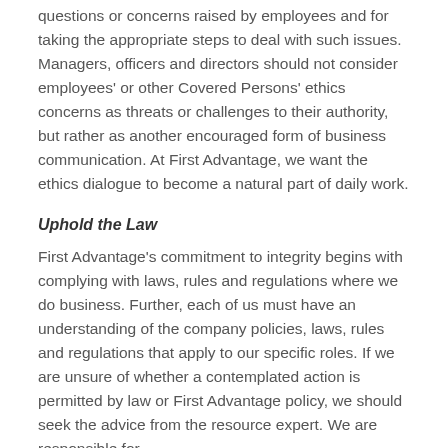questions or concerns raised by employees and for taking the appropriate steps to deal with such issues. Managers, officers and directors should not consider employees' or other Covered Persons' ethics concerns as threats or challenges to their authority, but rather as another encouraged form of business communication. At First Advantage, we want the ethics dialogue to become a natural part of daily work.
Uphold the Law
First Advantage's commitment to integrity begins with complying with laws, rules and regulations where we do business. Further, each of us must have an understanding of the company policies, laws, rules and regulations that apply to our specific roles. If we are unsure of whether a contemplated action is permitted by law or First Advantage policy, we should seek the advice from the resource expert. We are responsible for